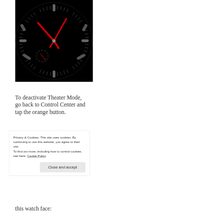[Figure (photo): Apple Watch face displaying a dark analog watch face with red hands showing approximately 10:10, with grey hour markers on a black background — Theater Mode active]
To deactivate Theater Mode, go back to Control Center and tap the orange button.
Privacy & Cookies: This site uses cookies. By continuing to use this website, you agree to their use.
To find out more, including how to control cookies, see here: Cookie Policy

Close and accept
this watch face: